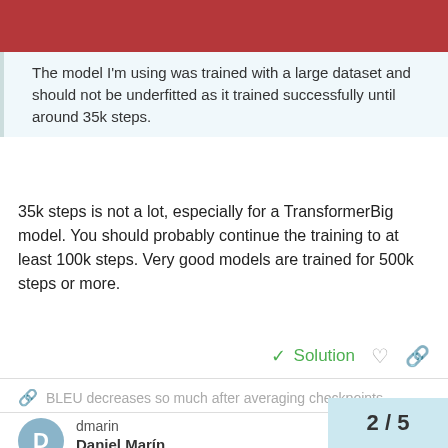The model I'm using was trained with a large dataset and should not be underfitted as it trained successfully until around 35k steps.
35k steps is not a lot, especially for a TransformerBig model. You should probably continue the training to at least 100k steps. Very good models are trained for 500k steps or more.
✓ Solution
BLEU decreases so much after averaging checkpoints
dmarin
Daniel Marin
Nov '20
Thanks very much, Guillaume. This is very helpful to confirm that it was the coverage penalty the reason of t
2 / 5